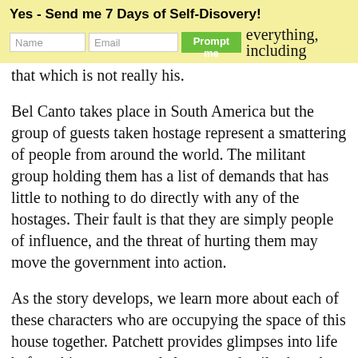Yes - Send me 7 Days of Self-Disovery!
…everything, including that which is not really his.
Bel Canto takes place in South America but the group of guests taken hostage represent a smattering of people from around the world. The militant group holding them has a list of demands that has little to nothing to do directly with any of the hostages. Their fault is that they are simply people of influence, and the threat of hurting them may move the government into action.
As the story develops, we learn more about each of these characters who are occupying the space of this house together. Patchett provides glimpses into life before this moment and also some details about how the time here is being processed.
For me the story is a beautiful telling of our ability to connect to one-another as human beings even under the